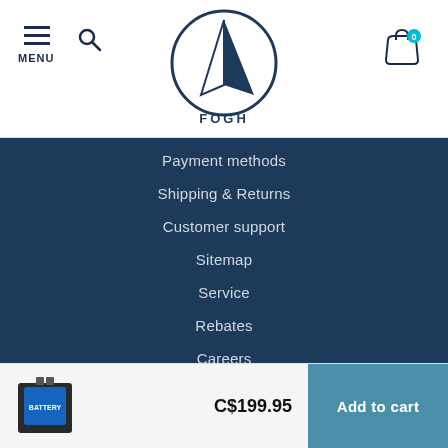MENU | Search | FOGH Logo | Cart (0)
Payment methods
Shipping & Returns
Customer support
Sitemap
Service
Rebates
Careers
My account
Account information
My orders
C$199.95  Add to cart